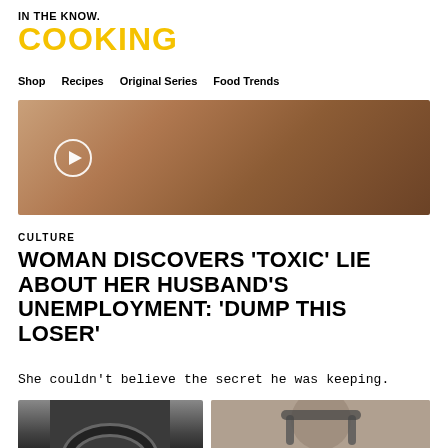IN THE KNOW.
COOKING
Shop  Recipes  Original Series  Food Trends
[Figure (photo): Close-up hero image of food/cooking with a circular play button overlay on the left side]
CULTURE
WOMAN DISCOVERS 'TOXIC' LIE ABOUT HER HUSBAND'S UNEMPLOYMENT: 'DUMP THIS LOSER'
She couldn't believe the secret he was keeping.
[Figure (photo): Bottom left: dark ring/bracelet product photo]
[Figure (photo): Bottom right: person wearing headphones, blurred background]